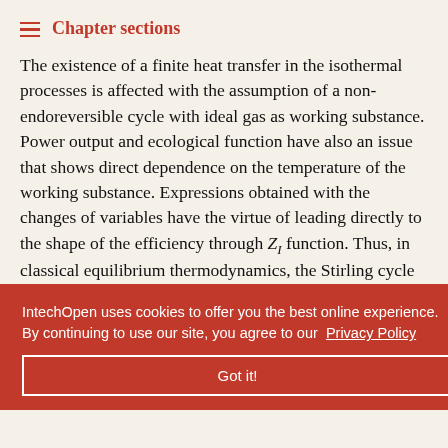Chapter sections
The existence of a finite heat transfer in the isothermal processes is affected with the assumption of a non-endoreversible cycle with ideal gas as working substance. Power output and ecological function have also an issue that shows direct dependence on the temperature of the working substance. Expressions obtained with the changes of variables have the virtue of leading directly to the shape of the efficiency through Z_I function. Thus, in classical equilibrium thermodynamics, the Stirling cycle ... ics, this cycle ... the Curzon–
4.2. Ericsson cycle
IntechOpen uses cookies to offer you the best online experience. By continuing to use our site, you agree to our Privacy Policy
Got it!